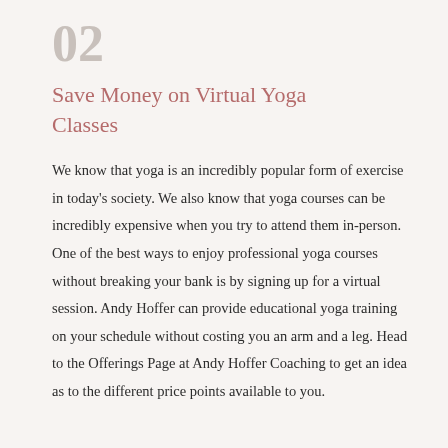02
Save Money on Virtual Yoga Classes
We know that yoga is an incredibly popular form of exercise in today's society. We also know that yoga courses can be incredibly expensive when you try to attend them in-person. One of the best ways to enjoy professional yoga courses without breaking your bank is by signing up for a virtual session. Andy Hoffer can provide educational yoga training on your schedule without costing you an arm and a leg. Head to the Offerings Page at Andy Hoffer Coaching to get an idea as to the different price points available to you.